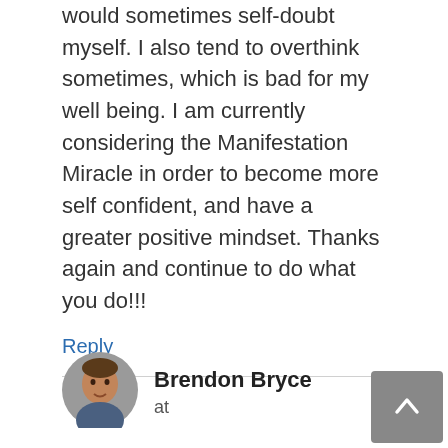would sometimes self-doubt myself. I also tend to overthink sometimes, which is bad for my well being. I am currently considering the Manifestation Miracle in order to become more self confident, and have a greater positive mindset. Thanks again and continue to do what you do!!!
Reply
Brendon Bryce
at
[Figure (photo): Circular avatar photo of a man]
Hello Ahmad,